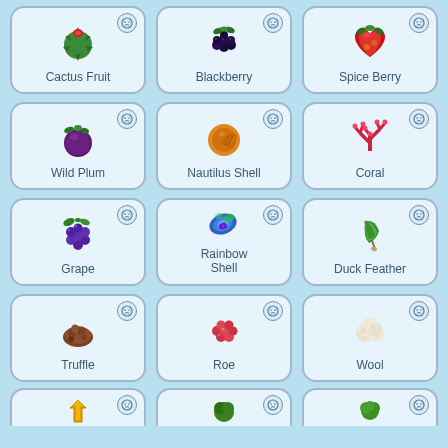[Figure (illustration): Grid of game item cards showing pixel art items with neutral face icons. Row 1: Cactus Fruit, Blackberry, Spice Berry. Row 2: Wild Plum, Nautilus Shell, Coral. Row 3: Grape, Rainbow Shell, Duck Feather. Row 4: Truffle, Roe, Wool. Row 5 (partial): three more items cut off at bottom.]